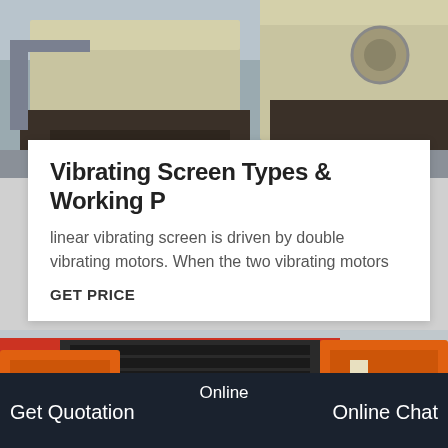[Figure (photo): Industrial vibrating screen equipment in a factory, beige/tan colored machinery on metal frames]
Vibrating Screen Types & Working P
linear vibrating screen is driven by double vibrating motors. When the two vibrating motors
GET PRICE
[Figure (photo): Orange and black vibrating screen equipment stacked in an industrial warehouse with red crane beams overhead]
Online   Get Quotation   Online Chat